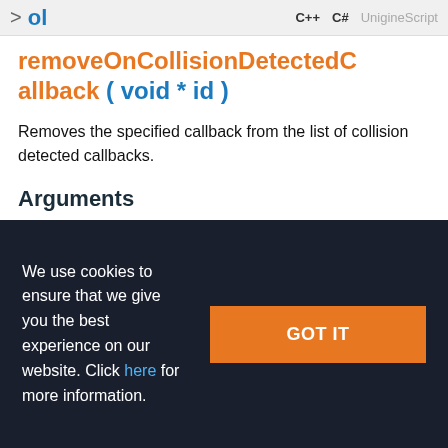ol  C++  C#  UnigineScript
removeOnCollisionDetectedCallback ( void * id )
Removes the specified callback from the list of collision detected callbacks.
Arguments
void * id - Collision detected callback ID obtained
We use cookies to ensure that we give you the best experience on our website. Click here for more information.